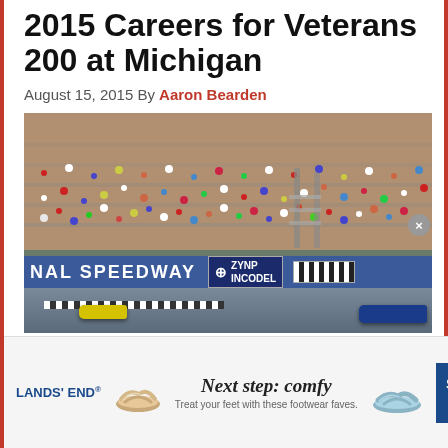2015 Careers for Veterans 200 at Michigan
August 15, 2015 By Aaron Bearden
[Figure (photo): NASCAR race at Michigan International Speedway showing packed grandstands full of spectators, the NAL SPEEDWAY and ZYNP INCODEL banners visible along the track wall, with race cars on the track surface below.]
[Figure (infographic): Lands' End advertisement: Next step: comfy - Treat your feet with these footwear faves. SHOP NOW button.]